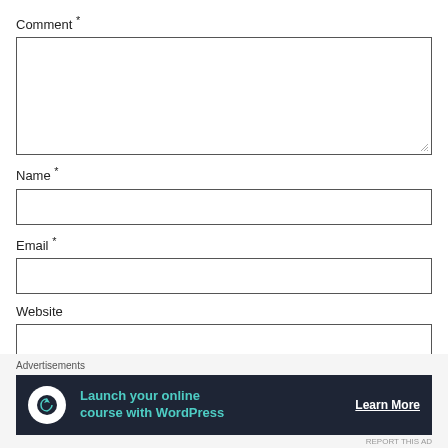Comment *
[Figure (screenshot): Empty textarea input field for comment]
Name *
[Figure (screenshot): Empty text input field for name]
Email *
[Figure (screenshot): Empty text input field for email]
Website
[Figure (screenshot): Empty text input field for website]
POST COMMENT
Advertisements
[Figure (screenshot): Advertisement banner: Launch your online course with WordPress — Learn More]